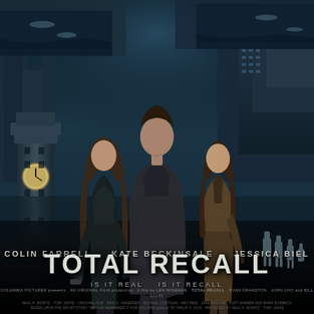[Figure (photo): Movie poster for Total Recall (2012) featuring Colin Farrell in the center background, Kate Beckinsale on the left holding a gun wearing black outfit, Jessica Biel on the right in a brown jacket. Background shows a futuristic cityscape with Big Ben visible on the left and flying vehicles. Robots visible in the lower right. Bottom text shows actor names and film title.]
COLIN FARRELL   KATE BECKINSALE   JESSICA BIEL
TOTAL RECALL
IS IT REAL   IS IT RECALL
COLUMBIA PICTURES presents AN ORIGINAL FILM production A film by LEN WISEMAN TOTAL RECALL RYAN CRANSTON JOHN CHO and BILL NIGHY